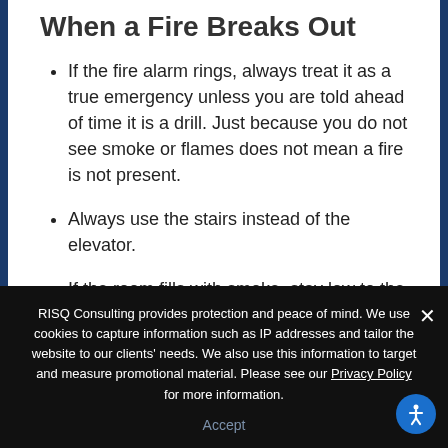When a Fire Breaks Out
If the fire alarm rings, always treat it as a true emergency unless you are told ahead of time it is a drill. Just because you do not see smoke or flames does not mean a fire is not present.
Always use the stairs instead of the elevator.
If the room fills with smoke, stay low to the ground and get out as fast—but as
RISQ Consulting provides protection and peace of mind. We use cookies to capture information such as IP addresses and tailor the website to our clients' needs. We also use this information to target and measure promotional material. Please see our Privacy Policy for more information.
Accept